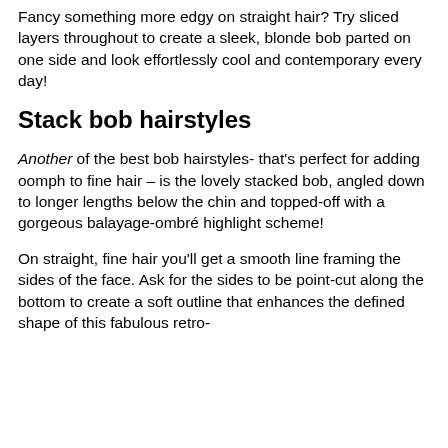Fancy something more edgy on straight hair? Try sliced layers throughout to create a sleek, blonde bob parted on one side and look effortlessly cool and contemporary every day!
Stack bob hairstyles
Another of the best bob hairstyles- that's perfect for adding oomph to fine hair – is the lovely stacked bob, angled down to longer lengths below the chin and topped-off with a gorgeous balayage-ombré highlight scheme!
On straight, fine hair you'll get a smooth line framing the sides of the face. Ask for the sides to be point-cut along the bottom to create a soft outline that enhances the defined shape of this fabulous retro-